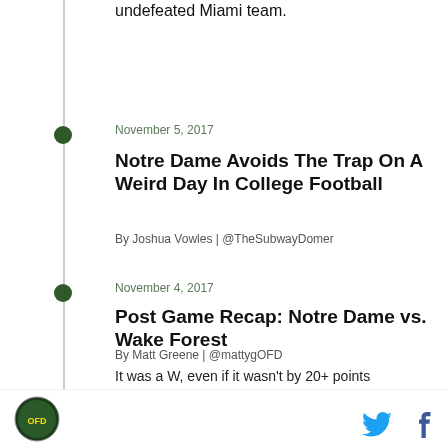Forest, and now have their sights set on an undefeated Miami team.
November 5, 2017
Notre Dame Avoids The Trap On A Weird Day In College Football
By Joshua Vowles | @TheSubwayDomer
November 4, 2017
Post Game Recap: Notre Dame vs. Wake Forest
By Matt Greene | @mattygOFD
It was a W, even if it wasn't by 20+ points
November 4, 2017